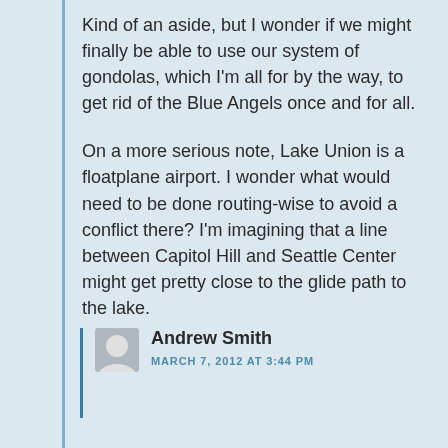Kind of an aside, but I wonder if we might finally be able to use our system of gondolas, which I'm all for by the way, to get rid of the Blue Angels once and for all.
On a more serious note, Lake Union is a floatplane airport. I wonder what would need to be done routing-wise to avoid a conflict there? I'm imagining that a line between Capitol Hill and Seattle Center might get pretty close to the glide path to the lake.
Andrew Smith
MARCH 7, 2012 AT 3:44 PM